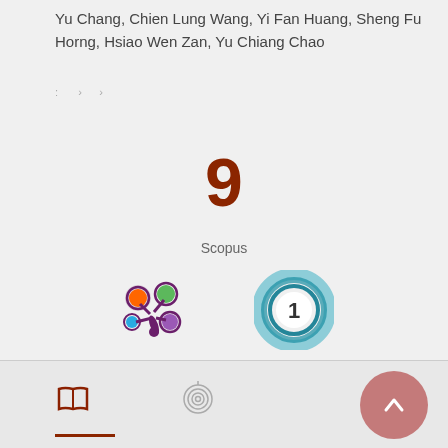Yu Chang, Chien Lung Wang, Yi Fan Huang, Sheng Fu Horng, Hsiao Wen Zan, Yu Chiang Chao
: › ›
9
Scopus
[Figure (logo): Altmetric colorful splat logo with orange, green, blue, and purple circles]
[Figure (logo): Dimensions badge showing number 1 in a teal ring]
[Figure (logo): Red open book icon in footer]
[Figure (logo): Spiral/ORCID icon in footer]
[Figure (illustration): Back to top button arrow in mauve circle]